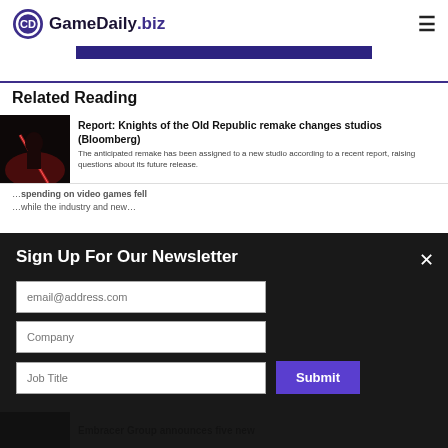GameDaily.biz
[Figure (other): Dark banner advertisement strip]
Related Reading
[Figure (photo): Dark dramatic image of a Star Wars-style character with red lightsaber glow]
Report: Knights of the Old Republic remake changes studios (Bloomberg)
Article snippet text partially visible
Sign Up For Our Newsletter
email@address.com
Company
Job Title
Submit
Embracer Group announces five new
spending on video games fell